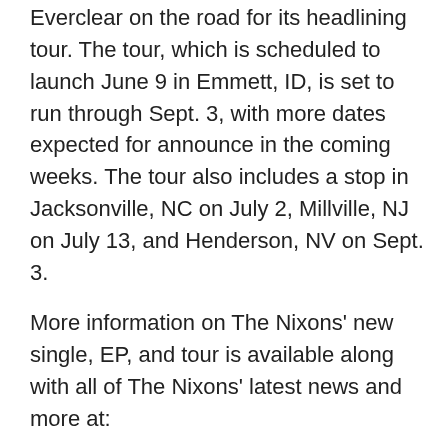In other news, The Nixons has joined Everclear on the road for its headlining tour. The tour, which is scheduled to launch June 9 in Emmett, ID, is set to run through Sept. 3, with more dates expected for announce in the coming weeks. The tour also includes a stop in Jacksonville, NC on July 2, Millville, NJ on July 13, and Henderson, NV on Sept. 3.
More information on The Nixons' new single, EP, and tour is available along with all of The Nixons' latest news and more at:
Website: https://thenixonsofficial.com
Facebook: https://www.facebook.com/TheNixonsOfficial
To keep up with the latest entertainment news and reviews, go online